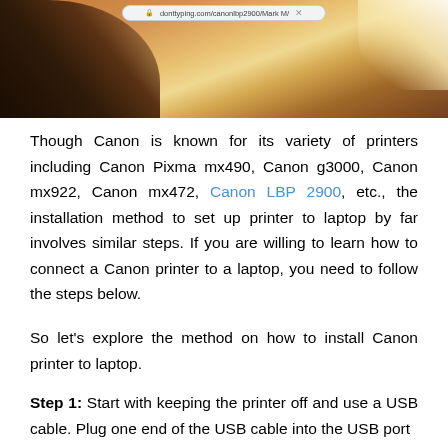[Figure (screenshot): Browser window screenshot showing a webpage with a dark silhouette against a warm sunset/backlit background, with a browser address bar visible at the top showing a URL.]
Though Canon is known for its variety of printers including Canon Pixma mx490, Canon g3000, Canon mx922, Canon mx472, Canon LBP 2900, etc., the installation method to set up printer to laptop by far involves similar steps. If you are willing to learn how to connect a Canon printer to a laptop, you need to follow the steps below.
So let's explore the method on how to install Canon printer to laptop.
Step 1: Start with keeping the printer off and use a USB cable. Plug one end of the USB cable into the USB port